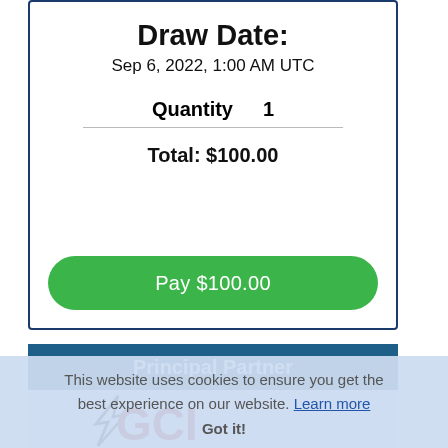Draw Date:
Sep 6, 2022, 1:00 AM UTC
Quantity   1
Total: $100.00
Pay $100.00
Principal Partner
This website uses cookies to ensure you get the best experience on our website. Learn more
Got it!
[Figure (logo): GCI logo with stylized star/lightning bolt and large red GCI letters on light blue background]